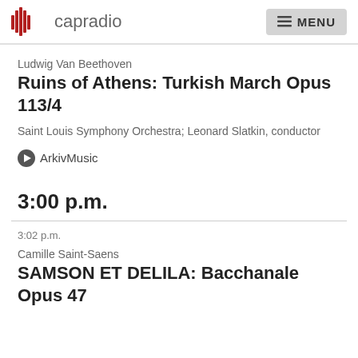capradio | MENU
Ludwig Van Beethoven
Ruins of Athens: Turkish March Opus 113/4
Saint Louis Symphony Orchestra; Leonard Slatkin, conductor
ArkivMusic
3:00 p.m.
3:02 p.m.
Camille Saint-Saens
SAMSON ET DELILA: Bacchanale Opus 47